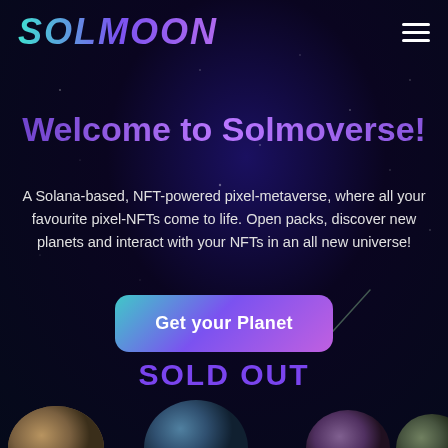[Figure (screenshot): Dark space-themed website background with radial purple/teal gradient, scattered stars, comet streak, and planet images along the bottom]
SOLMOON
Welcome to Solmoverse!
A Solana-based, NFT-powered pixel-metaverse, where all your favourite pixel-NFTs come to life. Open packs, discover new planets and interact with your NFTs in an all new universe!
Get your Planet
SOLD OUT